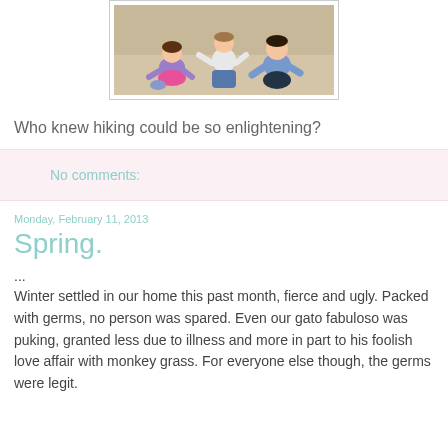[Figure (photo): Three children sitting on sand at a beach/sandy area. A girl in a purple shirt and pink skirt on the left, a child in white and jeans in the middle, and a child in a blue shirt on the right.]
Who knew hiking could be so enlightening?
No comments:
Monday, February 11, 2013
Spring.
...
Winter settled in our home this past month, fierce and ugly. Packed with germs, no person was spared. Even our gato fabuloso was puking, granted less due to illness and more in part to his foolish love affair with monkey grass. For everyone else though, the germs were legit.